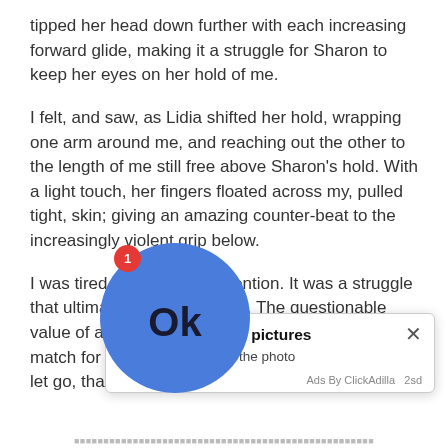tipped her head down further with each increasing forward glide, making it a struggle for Sharon to keep her eyes on her hold of me.
I felt, and saw, as Lidia shifted her hold, wrapping one arm around me, and reaching out the other to the length of me still free above Sharon's hold. With a light touch, her fingers floated across my, pulled tight, skin; giving an amazing counter-beat to the increasingly violent grip below.
I was tired of forcing my attention. It was a struggle that ultimately wasn't worth it. The questionable value of answering my mind's every flutter was no match for the pleasure of being in the moment. As I let go, that feeling of being [partially obscured by ad]
[Figure (screenshot): Ad popup overlay showing a blue circle with 'Ok' text and a badge '1', with text 'Kate sent you (5) pictures' and 'Click OK to display the photo'. Close X button at top right. Footer reads 'Ads By ClickAdilla 2sd'.]
It was a [partially obscured] caressing [partially obscured]. Without [partially obscured] onto her knees behind Sharon, her face close to her hands as